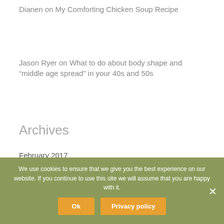Dianen on My Comforting Chicken Soup Recipe
Jason Ryer on What to do about body shape and “middle age spread” in your 40s and 50s
Archives
February 2017
January 2017
December 2016
November 2016
We use cookies to ensure that we give you the best experience on our website. If you continue to use this site we will assume that you are happy with it.